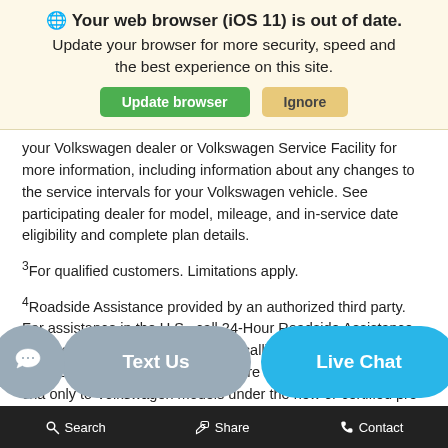🌐 Your web browser (iOS 11) is out of date. Update your browser for more security, speed and the best experience on this site.
your Volkswagen dealer or Volkswagen Service Facility for more information, including information about any changes to the service intervals for your Volkswagen vehicle. See participating dealer for model, mileage, and in-service date eligibility and complete plan details.
³For qualified customers. Limitations apply.
⁴Roadside Assistance provided by an authorized third party. For assistance in the U.S., call 24-Hour Roadside Assistance toll free at 1-800-411-6688. When calling, please provide your vehicle identification (VIN) r re insurance, or side cha only to Volkswagen models under the new or certified pre-owned
Search   Share   Contact